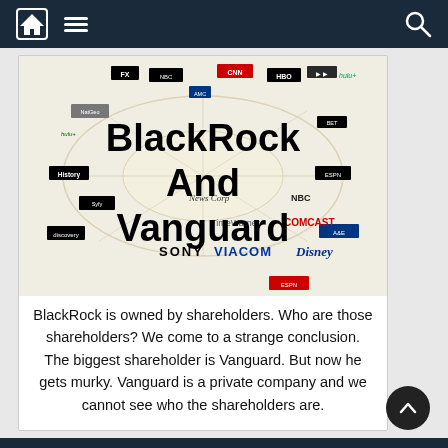Navigation bar with home, menu, and search icons
[Figure (infographic): Media company ownership diagram showing logos of CNN, HBO, FX, Comcast, Viacom, Disney, Sony, News Corp, TimeWarner and many other media brands arranged around a map/web graphic. Bold overlaid text reads 'BlackRock And Vanguard'.]
BlackRock is owned by shareholders. Who are those shareholders? We come to a strange conclusion. The biggest shareholder is Vanguard. But now he gets murky. Vanguard is a private company and we cannot see who the shareholders are.